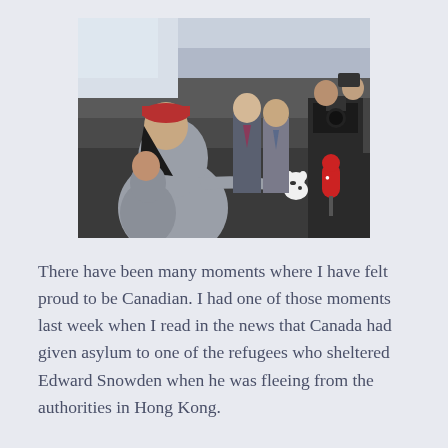[Figure (photo): A person in a grey hoodie and red cap interacts with reporters holding microphones (including CBC mic) and cameras in what appears to be an airport or government building corridor. Two men in suits stand in the background.]
There have been many moments where I have felt proud to be Canadian. I had one of those moments last week when I read in the news that Canada had given asylum to one of the refugees who sheltered Edward Snowden when he was fleeing from the authorities in Hong Kong.